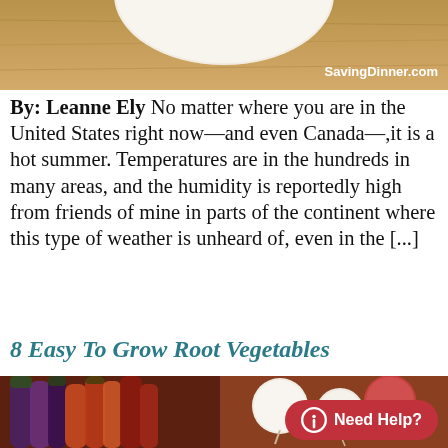[Figure (photo): Top portion of a food/cooking photo with a white bowl visible on a wooden surface, with SavingDinner.com watermark in the top right corner]
By: Leanne Ely   No matter where you are in the United States right now—and even Canada—,it is a hot summer. Temperatures are in the hundreds in many areas, and the humidity is reportedly high from friends of mine in parts of the continent where this type of weather is unheard of, even in the [...]
8 Easy To Grow Root Vegetables
[Figure (photo): Photo of assorted colorful root vegetables including purple, orange and red carrots, turnips, and onions arranged together. Features a 'Need Help?' button overlay in the bottom right corner.]